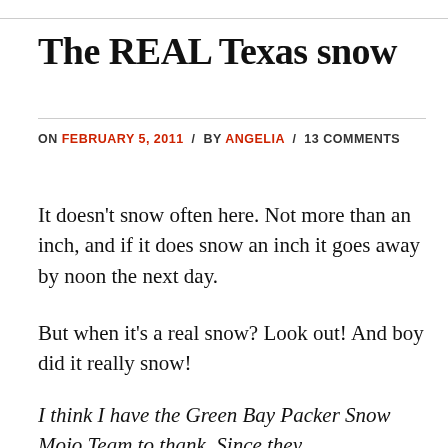The REAL Texas snow
ON FEBRUARY 5, 2011  /  BY ANGELIA  /  13 COMMENTS
It doesn't snow often here. Not more than an inch, and if it does snow an inch it goes away by noon the next day.
But when it's a real snow? Look out! And boy did it really snow!
I think I have the Green Bay Packer Snow Mojo Team to thank. Since they…